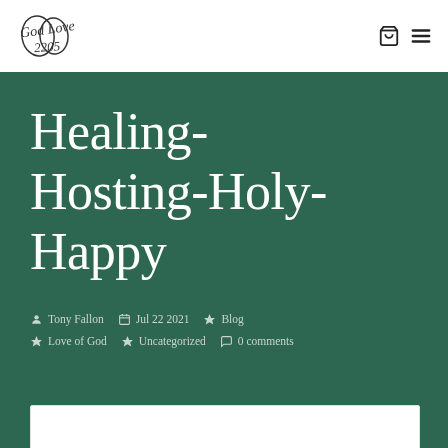[Figure (logo): Handwritten script logo reading 'God Love' with stylized lettering]
Healing-Hosting-Holy-Happy
Tony Fallon  Jul 22 2021  Blog  Love of God  Uncategorized  0 comments